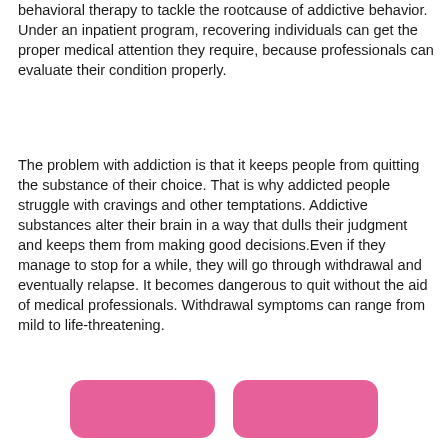behavioral therapy to tackle the rootcause of addictive behavior. Under an inpatient program, recovering individuals can get the proper medical attention they require, because professionals can evaluate their condition properly.
The problem with addiction is that it keeps people from quitting the substance of their choice. That is why addicted people struggle with cravings and other temptations. Addictive substances alter their brain in a way that dulls their judgment and keeps them from making good decisions.Even if they manage to stop for a while, they will go through withdrawal and eventually relapse. It becomes dangerous to quit without the aid of medical professionals. Withdrawal symptoms can range from mild to life-threatening.
[Figure (other): Two pink rounded rectangle buttons side by side at the bottom of the page]